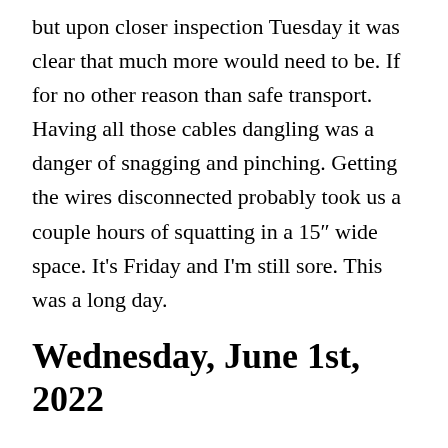but upon closer inspection Tuesday it was clear that much more would need to be. If for no other reason than safe transport. Having all those cables dangling was a danger of snagging and pinching. Getting the wires disconnected probably took us a couple hours of squatting in a 15″ wide space. It's Friday and I'm still sore. This was a long day.
Wednesday, June 1st, 2022
On Wednesday, we moved the frame over. Grant also installed a deadbolt in the back door and I hooked of some additional security cameras. I also called the plastics company. I thought they would have all the acrylic in but